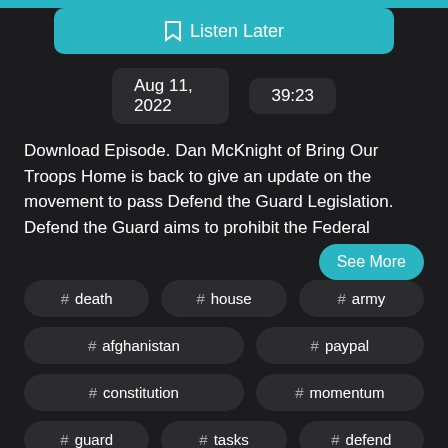[Figure (other): Teal bar at top of page]
Listen Later
Aug 11, 2022   39:23
Download Episode. Dan McKnight of Bring Our Troops Home is back to give an update on the movement to pass Defend the Guard Legislation. Defend the Guard aims to prohibit the Federal
See More
# death
# house
# army
# afghanistan
# paypal
# constitution
# momentum
# guard
# tasks
# defend